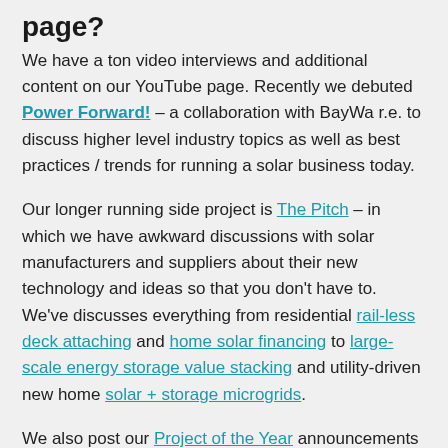page?
We have a ton video interviews and additional content on our YouTube page. Recently we debuted Power Forward! – a collaboration with BayWa r.e. to discuss higher level industry topics as well as best practices / trends for running a solar business today.
Our longer running side project is The Pitch – in which we have awkward discussions with solar manufacturers and suppliers about their new technology and ideas so that you don't have to. We've discusses everything from residential rail-less deck attaching and home solar financing to large-scale energy storage value stacking and utility-driven new home solar + storage microgrids.
We also post our Project of the Year announcements there, and we think these are going to...